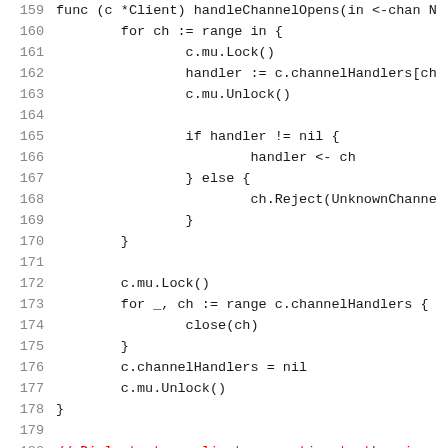Code listing lines 159-180, Go source code showing handleChannelOpens function and Dial function comment
159  func (c *Client) handleChannelOpens(in <-chan N
160      for ch := range in {
161              c.mu.Lock()
162              handler := c.channelHandlers[ch
163              c.mu.Unlock()
164
165              if handler != nil {
166                      handler <- ch
167              } else {
168                      ch.Reject(UnknownChanne
169              }
170      }
171
172      c.mu.Lock()
173      for _, ch := range c.channelHandlers {
174              close(ch)
175      }
176      c.channelHandlers = nil
177      c.mu.Unlock()
178  }
179
180  // Dial starts a client connection to the given